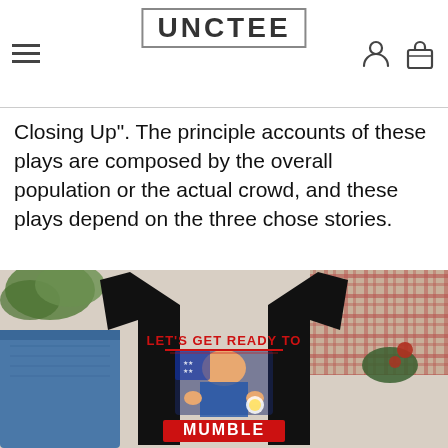UNCTEE
Closing Up". The principle accounts of these plays are composed by the overall population or the actual crowd, and these plays depend on the three chose stories.
[Figure (photo): Product photo of a black t-shirt with a political graphic that reads LET'S GET READY TO MUMBLE, displayed on a flat-lay with jeans, greenery, and plaid fabric.]